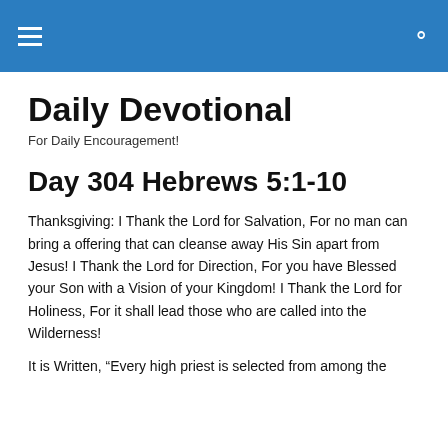Daily Devotional — navigation header bar
Daily Devotional
For Daily Encouragement!
Day 304 Hebrews 5:1-10
Thanksgiving: I Thank the Lord for Salvation, For no man can bring a offering that can cleanse away His Sin apart from Jesus! I Thank the Lord for Direction, For you have Blessed your Son with a Vision of your Kingdom! I Thank the Lord for Holiness, For it shall lead those who are called into the Wilderness!
It is Written, “Every high priest is selected from among the